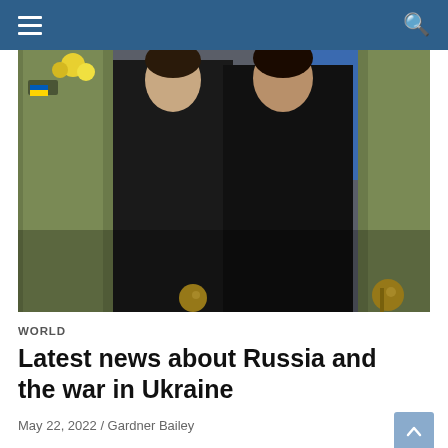[Figure (photo): Two people dressed in black walking together, flanked by soldiers in military camouflage uniforms. A blue background is visible in the upper right. A bouquet of flowers is visible on the left. Golden ornamental objects appear in the lower right.]
WORLD
Latest news about Russia and the war in Ukraine
May 22, 2022 / Gardner Bailey
The only Russian unit of Terminator tank support vehicles is believed to